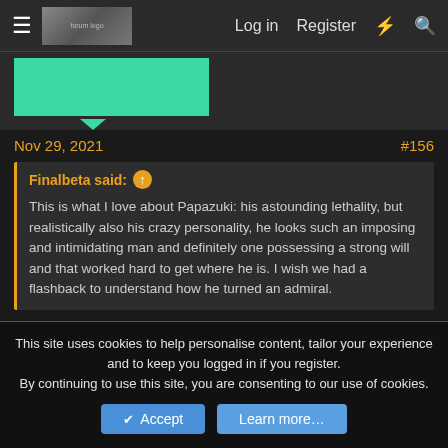Log in   Register
[Figure (screenshot): Forum navigation bar with hamburger menu, logo image, Log in, Register, lightning and search icons]
Nov 29, 2021    #156
Finalbeta said: ↑
This is what I love about Papazuki: his astounding lethality, but realistically also his crazy personality, he looks such an imposing and intimidating man and definitely one possessing a strong will and that worked hard to get where he is. I wish we had a flashback to understand how he turned an admiral.
By failing to damage Marco
👍 Sanji D Goat
This site uses cookies to help personalise content, tailor your experience and to keep you logged in if you register.
By continuing to use this site, you are consenting to our use of cookies.
Accept   Learn more...